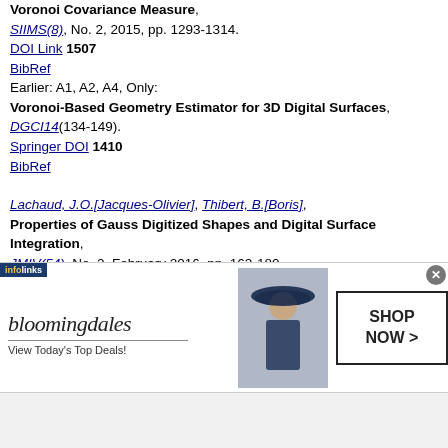Voronoi Covariance Measure, SIIMS(8), No. 2, 2015, pp. 1293-1314. DOI Link 1507 BibRef Earlier: A1, A2, A4, Only: Voronoi-Based Geometry Estimator for 3D Digital Surfaces, DGCI14(134-149). Springer DOI 1410 BibRef
Lachaud, J.O.[Jacques-Olivier], Thibert, B.[Boris], Properties of Gauss Digitized Shapes and Digital Surface Integration, JMIV(54), No. 2, February 2016, pp. 162-180. WWW Link. 1602 BibRef
Damiand, G.[Guillaume], Peltier, S.[Samuel], Fuchs, L. ...l, Lienhardt, P.[Pascal],
[Figure (other): Bloomingdale's advertisement banner with woman in hat, 'View Today's Top Deals!' text, and 'SHOP NOW >' button. Infolinks badge in top left corner.]